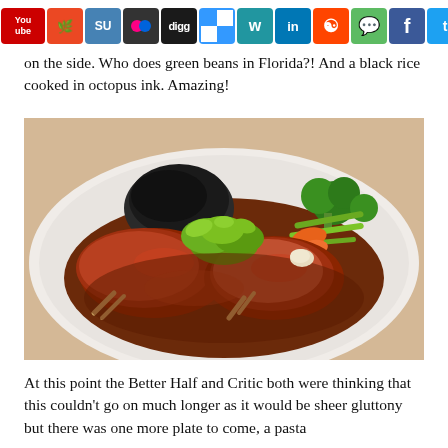Social media sharing icons bar
on the side. Who does green beans in Florida?! And a black rice cooked in octopus ink. Amazing!
[Figure (photo): A white plate with braised/glazed meat pieces in dark brown sauce, garnished with fresh cilantro, served alongside black rice and steamed vegetables (broccoli, green beans, carrots)]
At this point the Better Half and Critic both were thinking that this couldn't go on much longer as it would be sheer gluttony but there was one more plate to come, a pasta